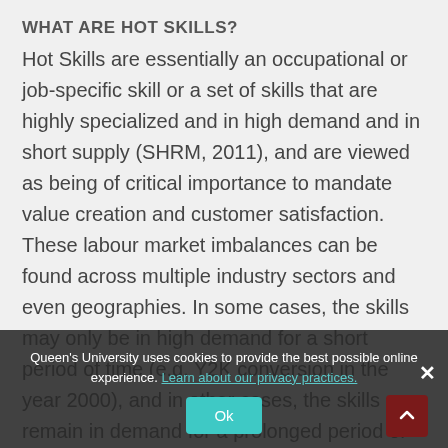WHAT ARE HOT SKILLS?
Hot Skills are essentially an occupational or job-specific skill or a set of skills that are highly specialized and in high demand and in short supply (SHRM, 2011), and are viewed as being of critical importance to mandate value creation and customer satisfaction. These labour market imbalances can be found across multiple industry sectors and even geographies. In some cases, the skills may only be in high demand for a short period of time (e.g. Y2K conversion in the year 2000), and in other cases, the skills can remain in demand for a prolonged period of time (e.g. an experienced construction engineer).
Queen's University uses cookies to provide the best possible online experience. Learn about our privacy practices.